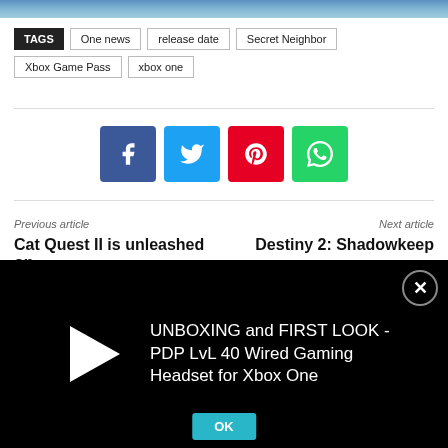[Figure (photo): Top portion of an image, appearing to show a blue-toned scene]
TAGS  One news  release date  Secret Neighbor  Xbox Game Pass  xbox one
[Figure (infographic): Social share buttons: Facebook (blue), Twitter (light blue), Pinterest (red), WhatsApp (green)]
Previous article
Next article
Cat Quest II is unleashed on
Destiny 2: Shadowkeep
[Figure (screenshot): Video overlay with play button and text: UNBOXING and FIRST LOOK - PDP LvL 40 Wired Gaming Headset for Xbox One, with close button and OK button]